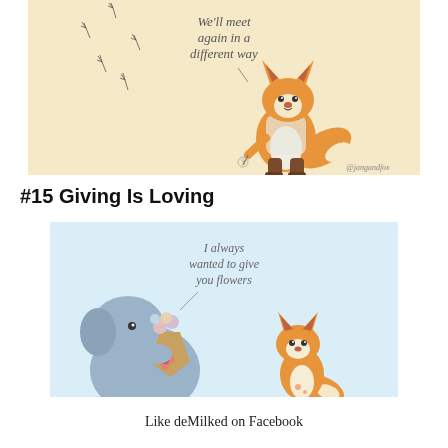[Figure (illustration): Cartoon fox wearing boots and a white shirt, standing and holding a dandelion. Text reads 'We'll meet again in a different way'. Small dandelion seeds float around. Watermark: @jangandfox. Beige/cream background.]
#15 Giving Is Loving
[Figure (illustration): Cartoon illustration of a blue elephant holding a bouquet of flowers, facing a small orange fox seated. Text reads 'I always wanted to give you flowers'. Light blue background.]
Like deMilked on Facebook